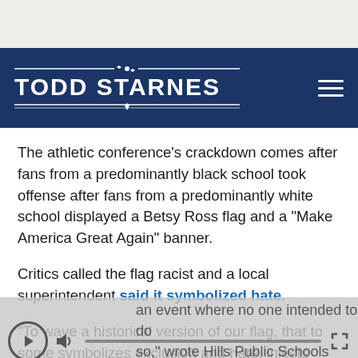[Figure (logo): Todd Starnes website header logo and navigation bar with dark navy blue background, white bold text 'TODD STARNES' with decorative lines and star, hamburger menu icon on right]
The athletic conference's crackdown comes after fans from a predominantly black school took offense after fans from a predominantly white school displayed a Betsy Ross flag and a “Make America Great Again” banner.
Critics called the flag racist and a local superintendent said it symbolized hate.
“To wave a historical version of our flag, that to some symbolizes exclusion and hate, injects hostility and
an event where no one intended to do so,” wrote Hills Public Schools Superintendent